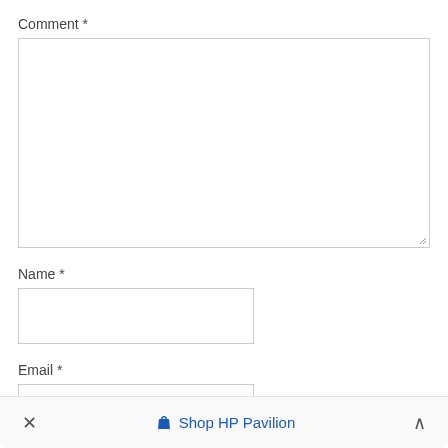Comment *
[Figure (screenshot): Empty comment textarea with resize handle at bottom-right]
Name *
[Figure (screenshot): Empty Name input field]
Email *
[Figure (screenshot): Empty Email input field, partially cut off]
✕   Shop HP Pavilion   ∧